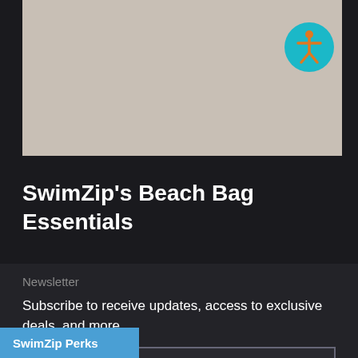[Figure (other): Gray/beige image area placeholder at the top of the page with an accessibility icon button in the top-right corner]
SwimZip's Beach Bag Essentials
Newsletter
Subscribe to receive updates, access to exclusive deals, and more.
Enter your email address
SwimZip Perks